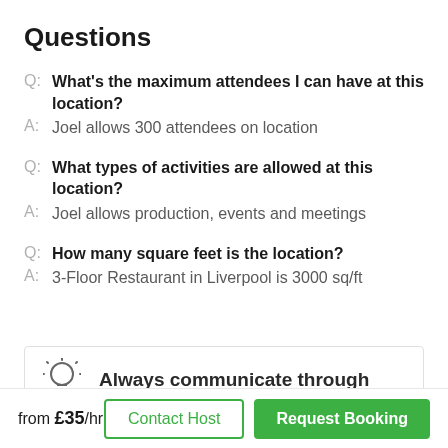Questions
Q: What's the maximum attendees I can have at this location?
A: Joel allows 300 attendees on location
Q: What types of activities are allowed at this location?
A: Joel allows production, events and meetings
Q: How many square feet is the location?
A: 3-Floor Restaurant in Liverpool is 3000 sq/ft
Always communicate through
from £35/hr
Contact Host
Request Booking